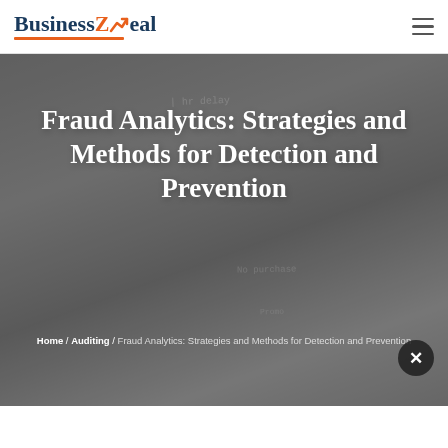BusinessZeal
[Figure (photo): A man writing on a whiteboard with text 'Fraud Analytics: Strategies and Methods for Detection and Prevention' overlaid on top of a dark photo background]
Fraud Analytics: Strategies and Methods for Detection and Prevention
Home / Auditing / Fraud Analytics: Strategies and Methods for Detection and Prevention